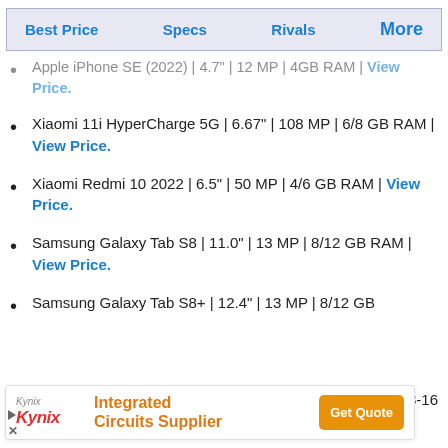Best Price | Specs | Rivals | More
Apple iPhone SE (2022) | 4.7" | 12 MP | 4GB RAM | View Price.
Xiaomi 11i HyperCharge 5G | 6.67" | 108 MP | 6/8 GB RAM | View Price.
Xiaomi Redmi 10 2022 | 6.5" | 50 MP | 4/6 GB RAM | View Price.
Samsung Galaxy Tab S8 | 11.0" | 13 MP | 8/12 GB RAM | View Price.
Samsung Galaxy Tab S8+ | 12.4" | 13 MP | 8/12 GB
[Figure (screenshot): Kynix advertisement banner: Kynix logo, 'Integrated Circuits Supplier' text in orange, and 'Get Quote' button in orange]
13 MP | 8-16